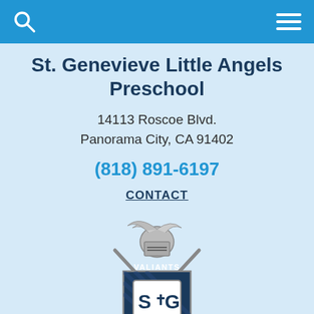Navigation bar with search and menu icons
St. Genevieve Little Angels Preschool
14113 Roscoe Blvd.
Panorama City, CA 91402
(818) 891-6197
CONTACT
[Figure (logo): St. Genevieve Valiants school crest logo featuring a knight with sword and shield bearing S+G and the word VALIANTS]